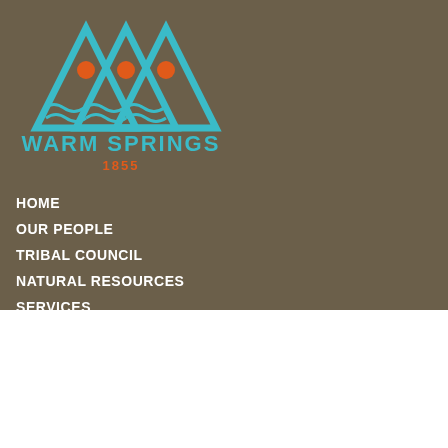[Figure (logo): Warm Springs tribal logo: three teal triangles with orange circles, teal text WARM SPRINGS, orange text 1855]
HOME
OUR PEOPLE
TRIBAL COUNCIL
NATURAL RESOURCES
SERVICES
ENTERPRISES
NEWS
[Figure (logo): Powered by Alpine Internet Solutions logo with green chevron arrows]
© COPYRIGHT 2021 CONFEDERATED TRIBES OF WARM SPRINGS
MySQL Queries: 223 Flush Rules DOMContentLoaded: 2002ms PHP: 7.4.30 WordPress: 5.6